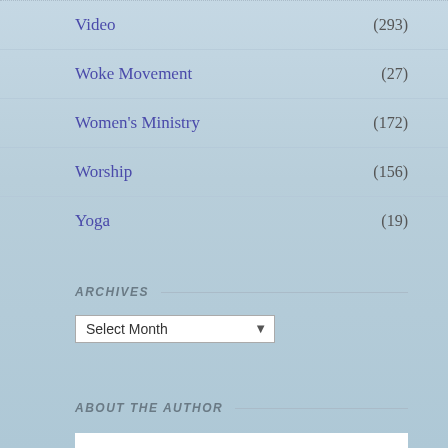Video (293)
Woke Movement (27)
Women's Ministry (172)
Worship (156)
Yoga (19)
ARCHIVES
Select Month
ABOUT THE AUTHOR